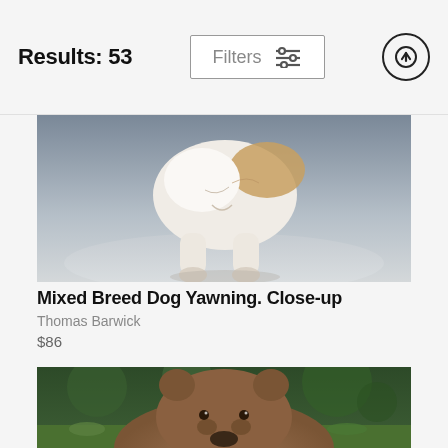Results: 53
[Figure (photo): White and brown mixed breed dog photographed from behind/side, sitting on a light grey background, dog appears to be yawning or stretching, showing mostly white fur with brown patches]
Mixed Breed Dog Yawning. Close-up
Thomas Barwick
$86
[Figure (photo): Brown bear (or large dog) lying in green grass, viewed from front/above, dark green bokeh background with grass visible]